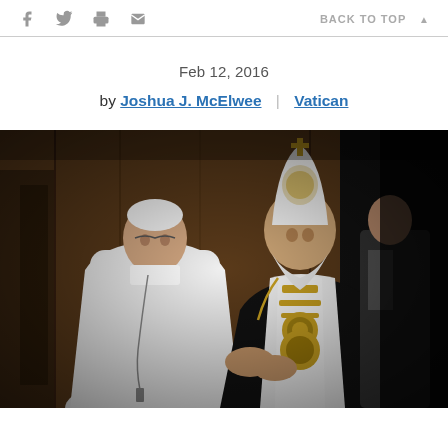f [twitter] [print] [email]   BACK TO TOP ▲
Feb 12, 2016
by Joshua J. McElwee | Vatican
[Figure (photo): Two religious leaders shaking hands: Pope Francis in white papal vestments on the left, and Patriarch Kirill of Moscow in black and white Orthodox vestments with golden embroidery on the right, with another figure partially visible in the background.]